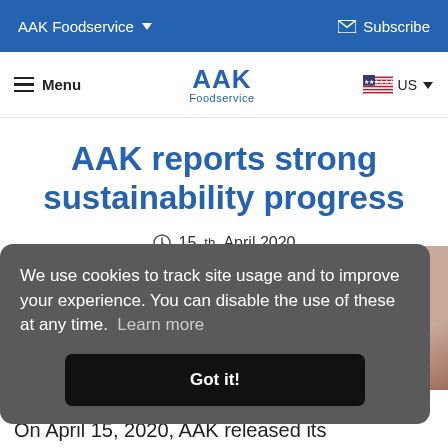AAK Foodservice  Subscribe
Menu  AAK Foodservice  US
AAK reports strong sustainability progress
15th April 2020
We use cookies to track site usage and to improve your experience. You can disable the use of these at any time.  Learn more  Got it!
[Figure (photo): Partial view of a person, cropped on the right side of the page]
On April 15, 2020, AAK released its